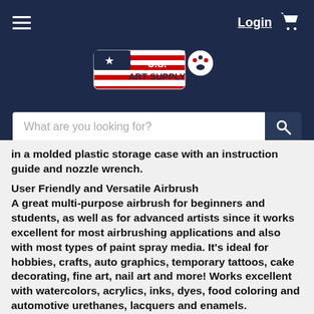[Figure (screenshot): U.S. Art Supply website header with dark navy background, hamburger menu icon on left, Login link and shopping cart icon on right, U.S. Art Supply logo in center, and search bar below]
in a molded plastic storage case with an instruction guide and nozzle wrench.
User Friendly and Versatile Airbrush
A great multi-purpose airbrush for beginners and students, as well as for advanced artists since it works excellent for most airbrushing applications and also with most types of paint spray media. It's ideal for hobbies, crafts, auto graphics, temporary tattoos, cake decorating, fine art, nail art and more! Works excellent with watercolors, acrylics, inks, dyes, food coloring and automotive urethanes, lacquers and enamels.
Key Airbrush Features and Benefits